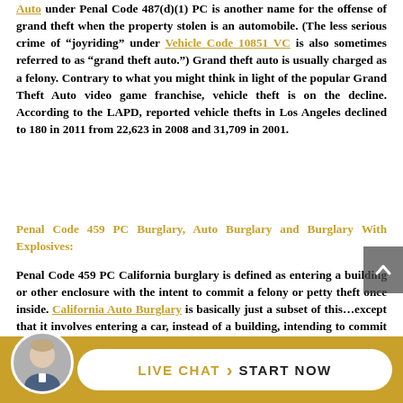Auto under Penal Code 487(d)(1) PC is another name for the offense of grand theft when the property stolen is an automobile. (The less serious crime of "joyriding" under Vehicle Code 10851 VC is also sometimes referred to as "grand theft auto.") Grand theft auto is usually charged as a felony. Contrary to what you might think in light of the popular Grand Theft Auto video game franchise, vehicle theft is on the decline. According to the LAPD, reported vehicle thefts in Los Angeles declined to 180 in 2011 from 22,623 in 2008 and 31,709 in 2001.
Penal Code 459 PC Burglary, Auto Burglary and Burglary With Explosives:
Penal Code 459 PC California burglary is defined as entering a building or other enclosure with the intent to commit a felony or petty theft once inside. California Auto Burglary is basically just a subset of this...except that it involves entering a car, instead of a building, intending to commit a felony or theft.
[Figure (infographic): Live chat button with attorney avatar photo. Gold bar footer with white rounded rectangle button showing 'LIVE CHAT > START NOW' text.]